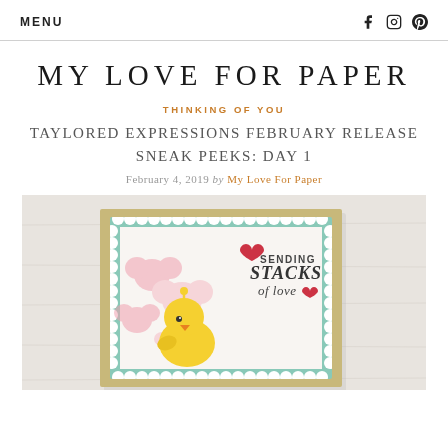MENU  f  IG  P
MY LOVE FOR PAPER
THINKING OF YOU
TAYLORED EXPRESSIONS FEBRUARY RELEASE SNEAK PEEKS: DAY 1
February 4, 2019 by My Love For Paper
[Figure (photo): A handmade greeting card featuring a yellow chick on a pink hearts background with teal scalloped border. Text on card reads 'SENDING STACKS of love' with heart decorations.]